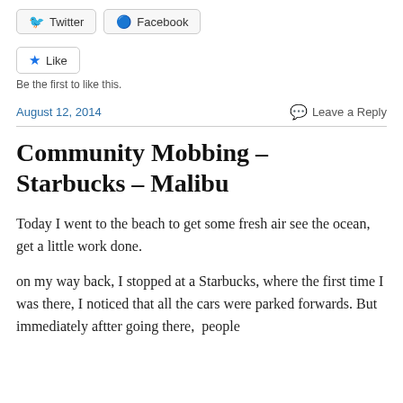[Figure (other): Social share buttons: Twitter and Facebook buttons side by side]
[Figure (other): Like button with star icon]
Be the first to like this.
August 12, 2014
Leave a Reply
Community Mobbing – Starbucks – Malibu
Today I went to the beach to get some fresh air see the ocean, get a little work done.
on my way back, I stopped at a Starbucks, where the first time I was there, I noticed that all the cars were parked forwards. But immediately aftter going there,  people